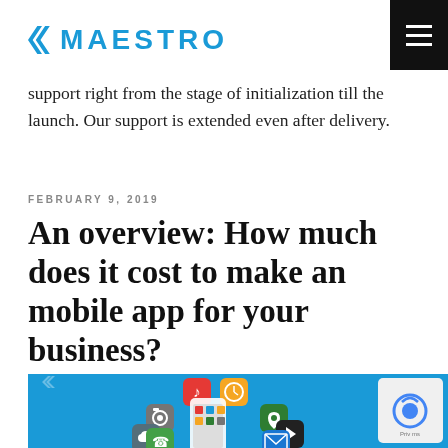MAESTRO
support right from the stage of initialization till the launch. Our support is extended even after delivery.
FEBRUARY 9, 2019
An overview: How much does it cost to make an mobile app for your business?
[Figure (illustration): Blue background illustration showing a hand holding a smartphone with various colorful app icons floating around it (music, clock, camera, maps, weather, phone, mail, video player icons). A small reCAPTCHA badge appears in the bottom-right corner.]